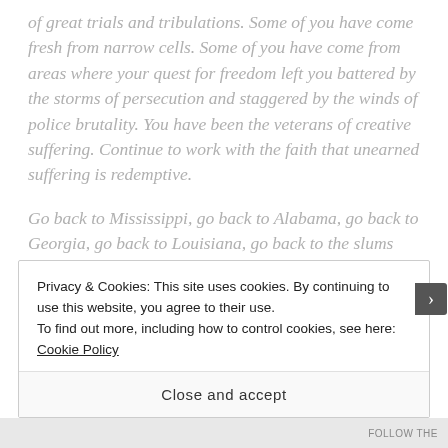of great trials and tribulations. Some of you have come fresh from narrow cells. Some of you have come from areas where your quest for freedom left you battered by the storms of persecution and staggered by the winds of police brutality. You have been the veterans of creative suffering. Continue to work with the faith that unearned suffering is redemptive.

Go back to Mississippi, go back to Alabama, go back to Georgia, go back to Louisiana, go back to the slums and ghettos of our northern cities, knowing that somehow this situation can and will be changed. Let us not wallow in the valley of despair. I say to you today, my friends, that in
Privacy & Cookies: This site uses cookies. By continuing to use this website, you agree to their use.
To find out more, including how to control cookies, see here: Cookie Policy
Close and accept